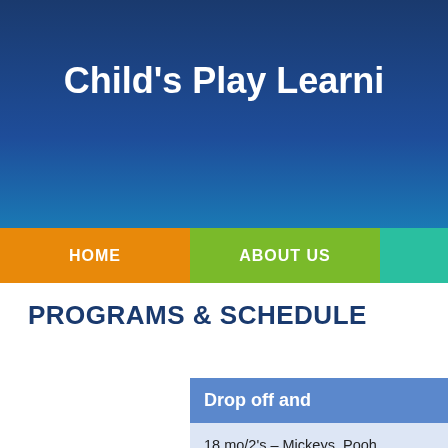Child's Play Learni
HOME | ABOUT US
PROGRAMS & SCHEDULE
| Drop off and |
| --- |
| 18 mo/2's – Mickeys, Pooh |
| 3's - Turtles, Frogs, Monke |